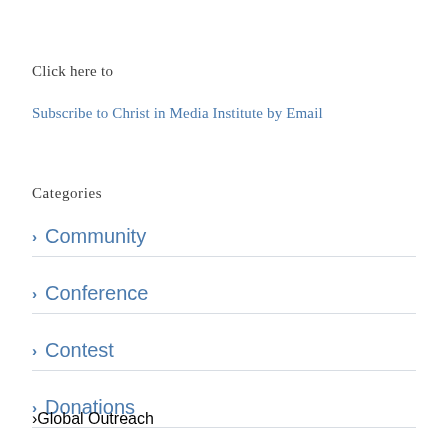Click here to
Subscribe to Christ in Media Institute by Email
Categories
> Community
> Conference
> Contest
> Donations
> Events
> Global Outreach